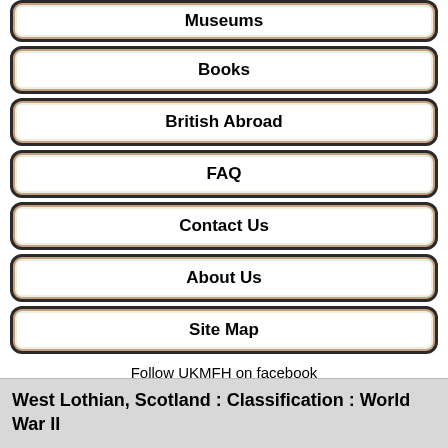Museums
Books
British Abroad
FAQ
Contact Us
About Us
Site Map
Follow UKMFH on facebook
West Lothian, Scotland : Classification : World War II